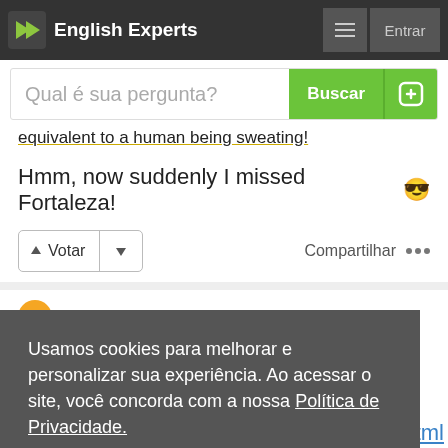English Experts
Qual é sua pergunta?
equivalent to a human being sweating!
Hmm, now suddenly I missed Fortaleza! 😎
Votar | Compartilhar
Usamos cookies para melhorar e personalizar sua experiência. Ao acessar o site, você concorda com a nossa Política de Privacidade.
Eu entendi!